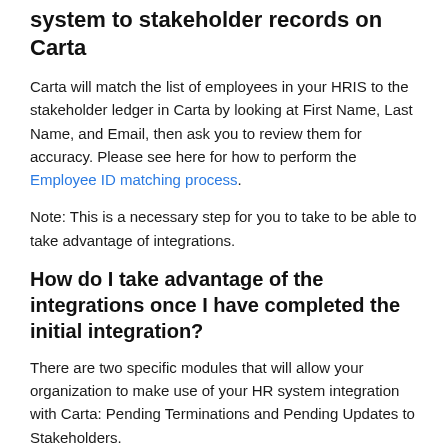system to stakeholder records on Carta
Carta will match the list of employees in your HRIS to the stakeholder ledger in Carta by looking at First Name, Last Name, and Email, then ask you to review them for accuracy. Please see here for how to perform the Employee ID matching process.
Note: This is a necessary step for you to take to be able to take advantage of integrations.
How do I take advantage of the integrations once I have completed the initial integration?
There are two specific modules that will allow your organization to make use of your HR system integration with Carta: Pending Terminations and Pending Updates to Stakeholders.